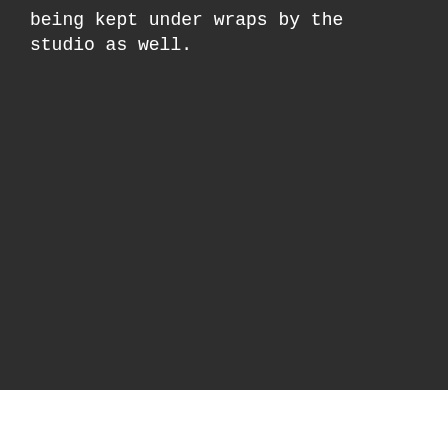being kept under wraps by the studio as well.